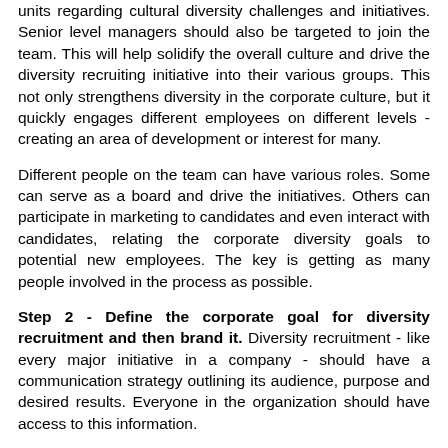units regarding cultural diversity challenges and initiatives. Senior level managers should also be targeted to join the team. This will help solidify the overall culture and drive the diversity recruiting initiative into their various groups. This not only strengthens diversity in the corporate culture, but it quickly engages different employees on different levels - creating an area of development or interest for many.
Different people on the team can have various roles. Some can serve as a board and drive the initiatives. Others can participate in marketing to candidates and even interact with candidates, relating the corporate diversity goals to potential new employees. The key is getting as many people involved in the process as possible.
Step 2 - Define the corporate goal for diversity recruitment and then brand it. Diversity recruitment - like every major initiative in a company - should have a communication strategy outlining its audience, purpose and desired results. Everyone in the organization should have access to this information.
Educating the organization on cultural diversity is a key...